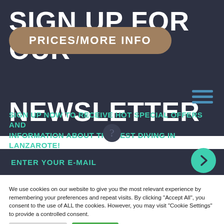SIGN UP FOR OUR NEWSLETTER
PRICES/MORE INFO
SIGN UP NOW TO RECEIVE HOT SPECIAL OFFERS AND INFORMATION ABOUT THE BEST DIVING IN LANZAROTE!
ENTER YOUR E-MAIL
We use cookies on our website to give you the most relevant experience by remembering your preferences and repeat visits. By clicking “Accept All”, you consent to the use of ALL the cookies. However, you may visit "Cookie Settings" to provide a controlled consent.
Cookie Settings
Accept All